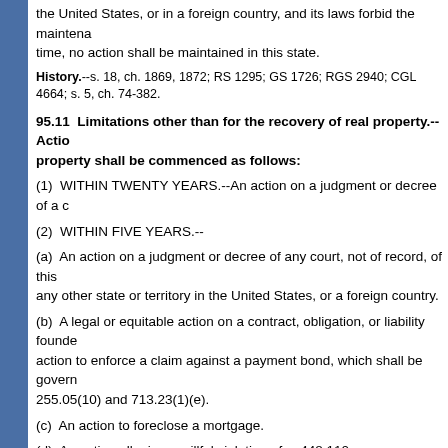the United States, or in a foreign country, and its laws forbid the maintenance of the action at the time no action shall be maintained in this state.
History.--s. 18, ch. 1869, 1872; RS 1295; GS 1726; RGS 2940; CGL 4664; s. 5, ch. 74-382
95.11  Limitations other than for the recovery of real property.--Actions other than for recovery of real property shall be commenced as follows:
(1)  WITHIN TWENTY YEARS.--An action on a judgment or decree of a court
(2)  WITHIN FIVE YEARS.--
(a)  An action on a judgment or decree of any court, not of record, of this state or any other state or territory in the United States, or a foreign country.
(b)  A legal or equitable action on a contract, obligation, or liability founded on an action to enforce a claim against a payment bond, which shall be governed by ss. 255.05(10) and 713.23(1)(e).
(c)  An action to foreclose a mortgage.
(d)  An action alleging a willful violation of s. 448.110.
(3)  WITHIN FOUR YEARS.--
(a)  An action founded on negligence.